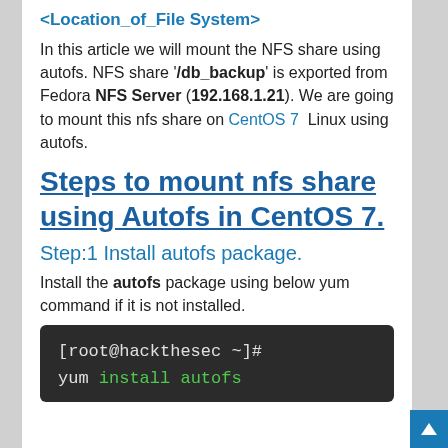<Location_of_File System>
In this article we will mount the NFS share using autofs. NFS share '/db_backup' is exported from Fedora NFS Server (192.168.1.21). We are going to mount this nfs share on CentOS 7 Linux using autofs.
Steps to mount nfs share using Autofs in CentOS 7.
Step:1 Install autofs package.
Install the autofs package using below yum command if it is not installed.
[Figure (screenshot): Terminal code block showing: [root@hackthesec ~]# yum install autofs]